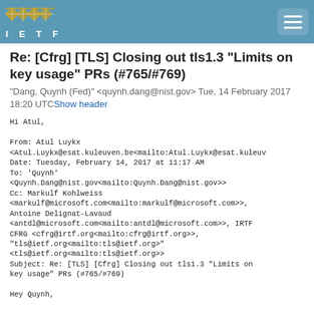IETF
Re: [Cfrg] [TLS] Closing out tls1.3 "Limits on key usage" PRs (#765/#769)
"Dang, Quynh (Fed)" <quynh.dang@nist.gov> Tue, 14 February 2017 18:20 UTC Show header
Hi Atul,

From: Atul Luykx
<Atul.Luykx@esat.kuleuven.be<mailto:Atul.Luykx@esat.kuleuv
Date: Tuesday, February 14, 2017 at 11:17 AM
To: 'Quynh'
<Quynh.Dang@nist.gov<mailto:Quynh.Dang@nist.gov>>
Cc: Markulf Kohlweiss
<markulf@microsoft.com<mailto:markulf@microsoft.com>>,
Antoine Delignat-Lavaud
<antdl@microsoft.com<mailto:antdl@microsoft.com>>, IRTF
CFRG <cfrg@irtf.org<mailto:cfrg@irtf.org>>,
"tls@ietf.org<mailto:tls@ietf.org>"
<tls@ietf.org<mailto:tls@ietf.org>>
Subject: Re: [TLS] [Cfrg] Closing out tls1.3 "Limits on
key usage" PRs (#765/#769)

Hey Quynh,